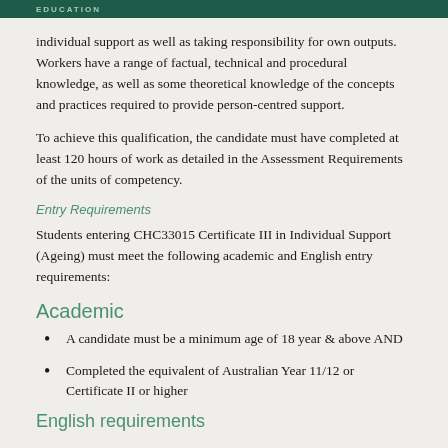EDUCATION
individual support as well as taking responsibility for own outputs. Workers have a range of factual, technical and procedural knowledge, as well as some theoretical knowledge of the concepts and practices required to provide person-centred support.
To achieve this qualification, the candidate must have completed at least 120 hours of work as detailed in the Assessment Requirements of the units of competency.
Entry Requirements
Students entering CHC33015 Certificate III in Individual Support (Ageing) must meet the following academic and English entry requirements:
Academic
A candidate must be a minimum age of 18 year & above AND
Completed the equivalent of Australian Year 11/12 or Certificate II or higher
English requirements